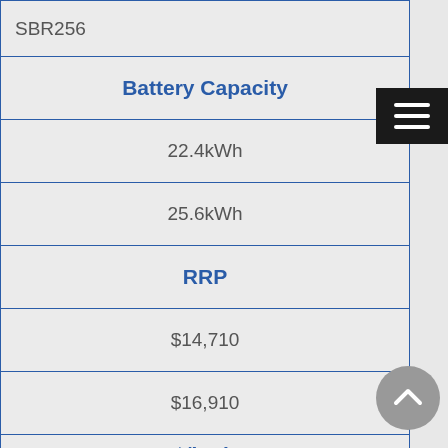| SBR256 |
| Battery Capacity |
| 22.4kWh |
| 25.6kWh |
| RRP |
| $14,710 |
| $16,910 |
| $/kWh |